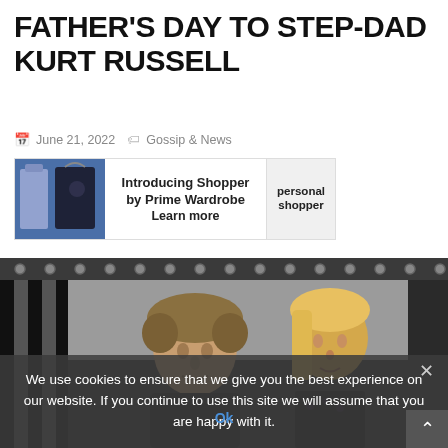FATHER'S DAY TO STEP-DAD KURT RUSSELL
June 21, 2022  Gossip & News
[Figure (infographic): Advertisement banner for Introducing Shopper by Prime Wardrobe - Learn more, with personal shopper badge and clothing image]
[Figure (photo): Photo of two people, a man with curly grey-brown hair and a woman with blonde hair, standing together in what appears to be a backstage or warehouse setting with black and white striped curtains]
We use cookies to ensure that we give you the best experience on our website. If you continue to use this site we will assume that you are happy with it.
Ok